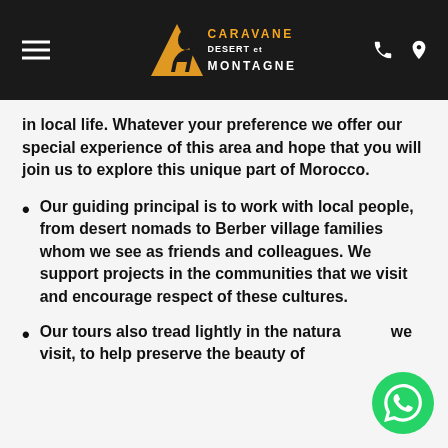Caravane Desert et Montagne
in local life. Whatever your preference we offer our special experience of this area and hope that you will join us to explore this unique part of Morocco.
Our guiding principal is to work with local people, from desert nomads to Berber village families whom we see as friends and colleagues. We support projects in the communities that we visit and encourage respect of these cultures.
Our tours also tread lightly in the natural areas we visit, to help preserve the beauty of